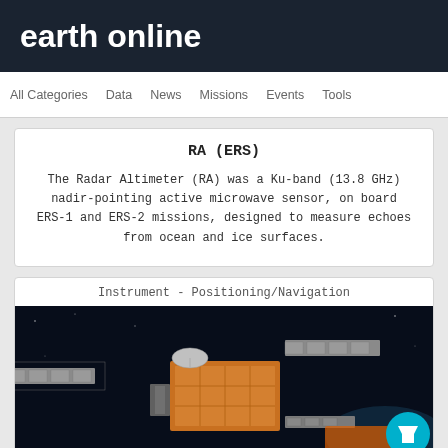earth online
All Categories   Data   News   Missions   Events   Tools
RA (ERS)
The Radar Altimeter (RA) was a Ku-band (13.8 GHz) nadir-pointing active microwave sensor, on board ERS-1 and ERS-2 missions, designed to measure echoes from ocean and ice surfaces.
Instrument - Positioning/Navigation
[Figure (photo): Photograph of a satellite (ERS) in space with solar panels extended and orange/gold body components visible against a dark background. A teal/cyan circular filter button is overlaid at the bottom right.]